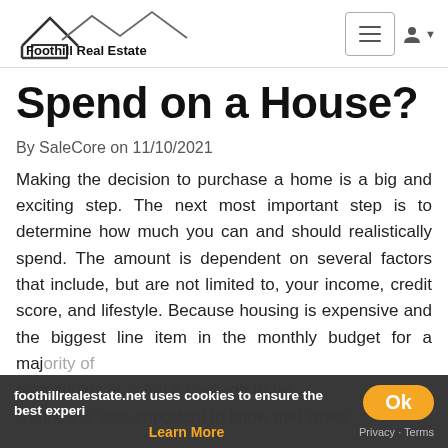Foothill Real Estate
Spend on a House?
By SaleCore on 11/10/2021
Making the decision to purchase a home is a big and exciting step. The next most important step is to determine how much you can and should realistically spend. The amount is dependent on several factors that include, but are not limited to, your income, credit score, and lifestyle. Because housing is expensive and the biggest line item in the monthly budget for a majority of households. It is not a decision to be taken lightly. It is also important to know that when
foothillrealestate.net uses cookies to ensure the best experience. Learn More · Privacy · Terms